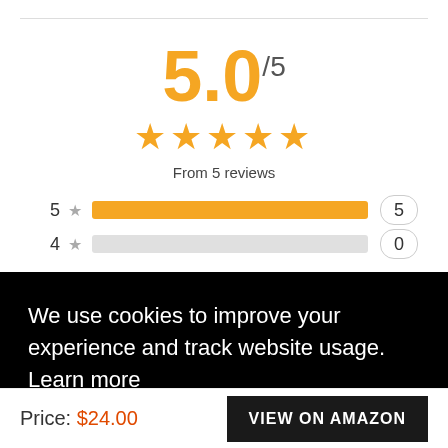5.0/5
[Figure (other): 5 gold stars rating display]
From 5 reviews
5 ★ [full bar] 5
4 ★ [empty bar] 0
We use cookies to improve your experience and track website usage. Learn more
Got it!
Price: $24.00
VIEW ON AMAZON